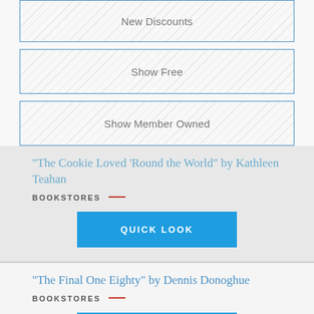New Discounts
Show Free
Show Member Owned
"The Cookie Loved 'Round the World" by Kathleen Teahan
BOOKSTORES —
QUICK LOOK
"The Final One Eighty" by Dennis Donoghue
BOOKSTORES —
QUICK LOOK